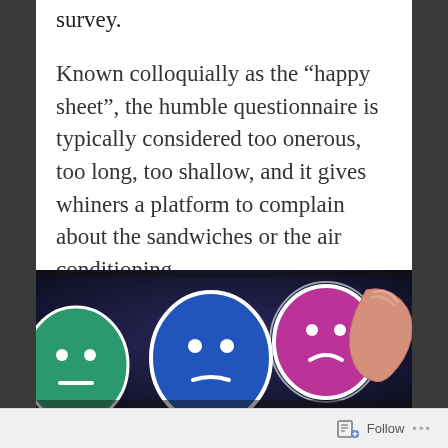survey.
Known colloquially as the “happy sheet”, the humble questionnaire is typically considered too onerous, too long, too shallow, and it gives whiners a platform to complain about the sandwiches or the air conditioning.
[Figure (photo): A close-up photo of a hand pressing a glowing pink sad-face emoji on a touchscreen device, with other emoji faces (green neutral, blue neutral) visible on the screen in a dark background.]
Follow ...